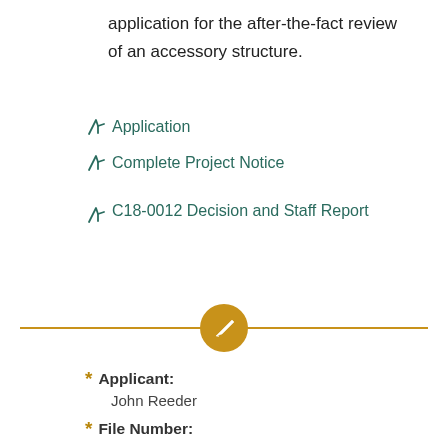application for the after-the-fact review of an accessory structure.
Application
Complete Project Notice
C18-0012 Decision and Staff Report
[Figure (infographic): Horizontal golden divider line with a pencil icon in an orange circle at the center]
Applicant: John Reeder
File Number: